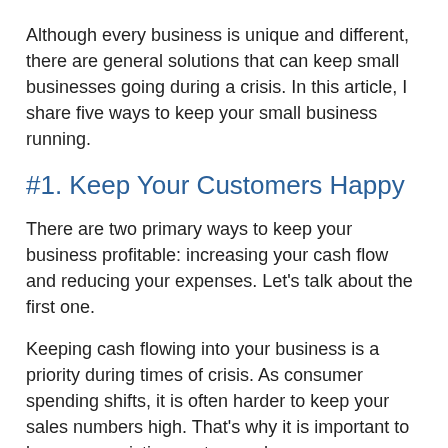Although every business is unique and different, there are general solutions that can keep small businesses going during a crisis. In this article, I share five ways to keep your small business running.
#1. Keep Your Customers Happy
There are two primary ways to keep your business profitable: increasing your cash flow and reducing your expenses. Let's talk about the first one.
Keeping cash flowing into your business is a priority during times of crisis. As consumer spending shifts, it is often harder to keep your sales numbers high. That's why it is important to keep your existing customers happy.